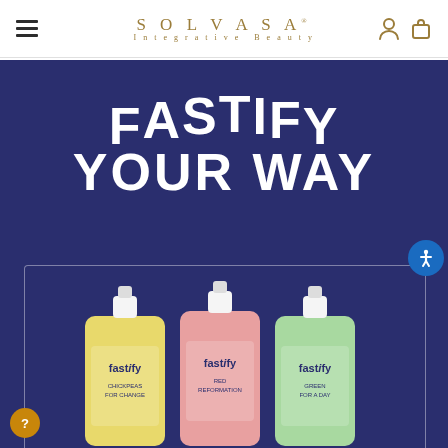SOLVASA Integrative Beauty — navigation header with hamburger menu and account/cart icons
[Figure (logo): SOLVASA Integrative Beauty logo in gold/tan color]
FASTIFY YOUR WAY
[Figure (photo): Three Fastify product pouches in yellow, pink, and green colors. Labels read: Fastify CHICKPEAS FOR CHANGE, Fastify RED REFORMATION, Fastify GREEN FOR A DAY. Displayed against navy blue background inside a bordered card.]